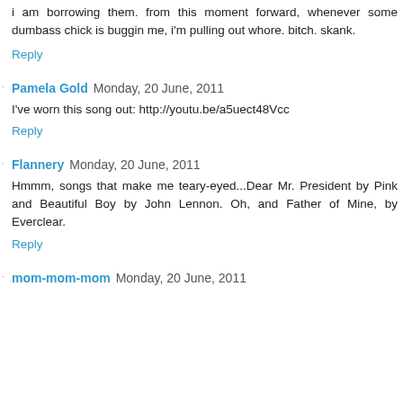i am borrowing them. from this moment forward, whenever some dumbass chick is buggin me, i'm pulling out whore. bitch. skank.
Reply
Pamela Gold  Monday, 20 June, 2011
I've worn this song out: http://youtu.be/a5uect48Vcc
Reply
Flannery  Monday, 20 June, 2011
Hmmm, songs that make me teary-eyed...Dear Mr. President by Pink and Beautiful Boy by John Lennon. Oh, and Father of Mine, by Everclear.
Reply
mom-mom-mom  Monday, 20 June, 2011